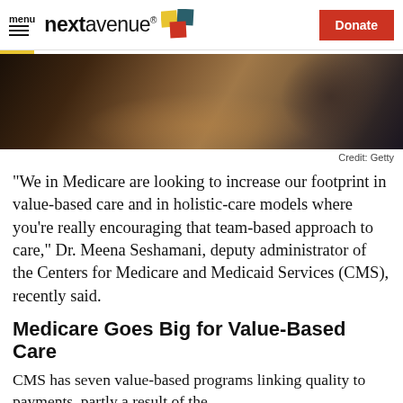menu | nextavenue | Donate
[Figure (photo): Close-up photo of hands, dark background, appears to be a medical or interpersonal interaction setting.]
Credit: Getty
"We in Medicare are looking to increase our footprint in value-based care and in holistic-care models where you're really encouraging that team-based approach to care," Dr. Meena Seshamani, deputy administrator of the Centers for Medicare and Medicaid Services (CMS), recently said.
Medicare Goes Big for Value-Based Care
CMS has seven value-based programs linking quality to payments, partly a result of the